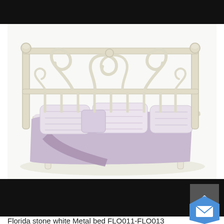[Figure (photo): A cream/stone white ornate metal bed frame (Florida stone white Metal bed) with decorative scrollwork on the headboard and footboard, dressed with lavender/purple floral bedding and matching pillows, photographed from a three-quarter angle on a white background.]
Florida stone white Metal bed FLO011-FLO013